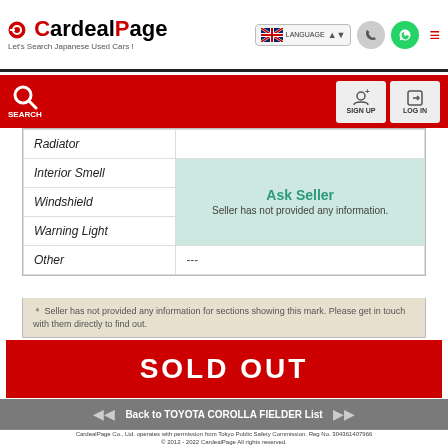CardealPage – Let's Search Japanese Used Cars!
|  |  |
| --- | --- |
| Radiator |  |
| Interior Smell | Ask Seller – Seller has not provided any information. |
| Windshield |  |
| Warning Light |  |
| Other | --- |
* Seller has not provided any information for sections showing this mark. Please get in touch with them directly to find out.
SOLD OUT
Back to TOYOTA COROLLA FIELDER List
CardealPage Co., Ltd. operates with permission from Tokyo Public Safety Commission. Reg No. 304361407966
© 2012 - 2022 CardealPage All rights reserved.